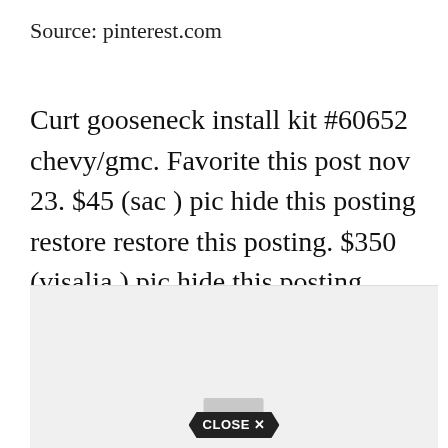Source: pinterest.com
Curt gooseneck install kit #60652 chevy/gmc. Favorite this post nov 23. $45 (sac ) pic hide this posting restore restore this posting. $350 (visalia ) pic hide this posting restore restore this posting. F250 v10 short exhaust system.
[Figure (screenshot): Advertisement placeholder box with a light gray background and a 'CLOSE X' button at the bottom center in a dark pentagon/arrow shape with a gray tab above it.]